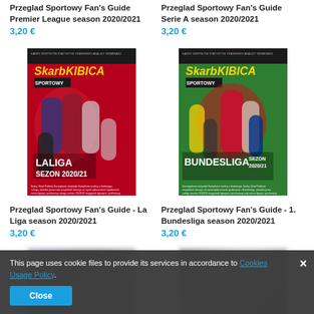Przeglad Sportowy Fan's Guide Premier League season 2020/2021
3,20 €
Przeglad Sportowy Fan's Guide Serie A season 2020/2021
3,20 €
[Figure (illustration): Skarb Kibica LaLiga Sezon 2020/21 magazine cover with football players]
[Figure (illustration): Skarb Kibica Bundesliga Sezon 2020/21 magazine cover with football players]
Przeglad Sportowy Fan's Guide - La Liga season 2020/2021
3,20 €
Przeglad Sportowy Fan's Guide - 1. Bundesliga season 2020/2021
3,20 €
[Figure (photo): Blurred magazine cover bottom left]
[Figure (photo): Blurred magazine cover bottom right]
This page uses cookie files to provide its services in accordance to Cookies Usage Policy.
Close